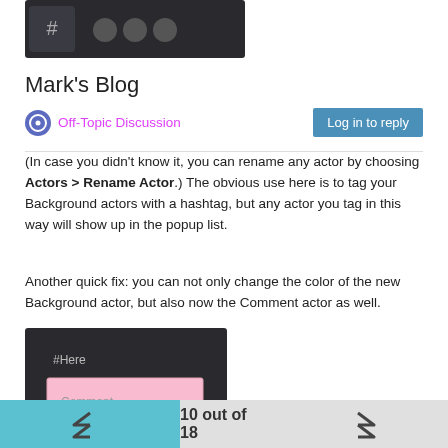[Figure (screenshot): Screenshot of a dark UI with hashtag icon and search/tool buttons]
Mark's Blog
Off-Topic Discussion
(In case you didn't know it, you can rename any actor by choosing Actors > Rename Actor.) The obvious use here is to tag your Background actors with a hashtag, but any actor you tag in this way will show up in the popup list.
Another quick fix: you can not only change the color of the new Background actor, but also now the Comment actor as well.
[Figure (screenshot): Screenshot showing a dark background with #Here label and a pink Comment... text box]
We also made it so that the only way to select Background actor
10 out of 18